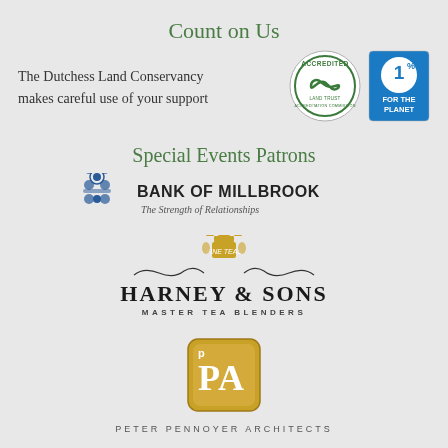Count on Us
The Dutchess Land Conservancy makes careful use of your support
[Figure (logo): Accredited Land Trust Accreditation Commission circular green logo]
[Figure (logo): 1% For The Planet blue and white circular logo]
Special Events Patrons
[Figure (logo): Bank of Millbrook logo with blue ornamental crest icon, text: BANK OF MILLBROOK, The Strength of Relationships]
[Figure (logo): Harney & Sons Fine Teas Master Tea Blenders logo with gold crest and decorative swirls]
[Figure (logo): Peter Pennoyer Architects logo with gold square monogram PA]
PETER PENNOYER ARCHITECTS